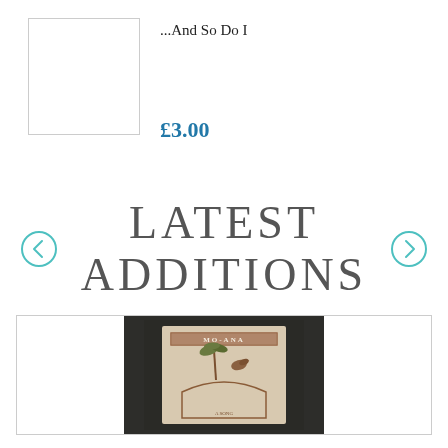[Figure (photo): Blank white product image placeholder box]
...And So Do I
£3.00
LATEST ADDITIONS
[Figure (photo): MO-ANA book or card cover with palm tree and bird illustration on dark background]